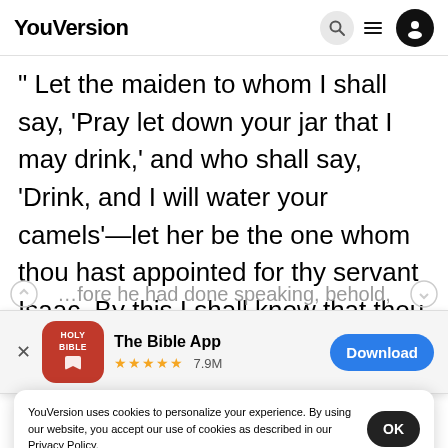YouVersion
" Let the maiden to whom I shall say, 'Pray let down your jar that I may drink,' and who shall say, 'Drink, and I will water your camels'—let her be the one whom thou hast appointed for thy servant Isaac. By this I shall know that thou hast shewn
[Figure (screenshot): App store banner for The Bible App with red icon, 5 star rating 7.9M reviews, and blue Download button]
...fore he had done speaking, behold,
Rebeka
Milcah,
YouVersion uses cookies to personalize your experience. By using our website, you accept our use of cookies as described in our Privacy Policy.
Home  Bible  Plans  Videos